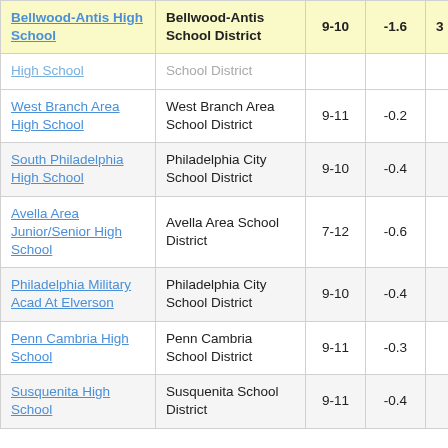| School | District | Grades | Value |  |
| --- | --- | --- | --- | --- |
| Bellwood-Antis High School | Bellwood-Antis School District | 9-10 | -1.6 | 3 |
| High School | School District |  |  |  |
| West Branch Area High School | West Branch Area School District | 9-11 | -0.2 |  |
| South Philadelphia High School | Philadelphia City School District | 9-10 | -0.4 |  |
| Avella Area Junior/Senior High School | Avella Area School District | 7-12 | -0.6 |  |
| Philadelphia Military Acad At Elverson | Philadelphia City School District | 9-10 | -0.4 |  |
| Penn Cambria High School | Penn Cambria School District | 9-11 | -0.3 |  |
| Susquenita High School | Susquenita School District | 9-11 | -0.4 |  |